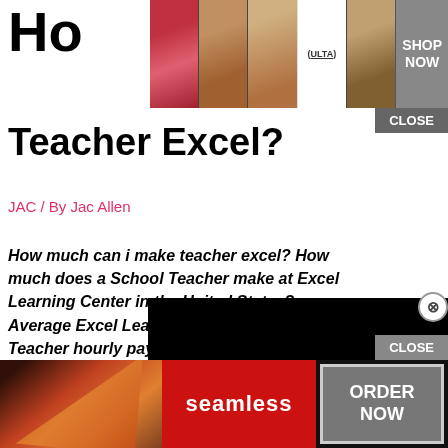[Figure (photo): Ulta beauty advertisement banner with makeup photos and SHOP NOW button]
How much can a Teacher Excel?
JAC / By Jac Allen
How much can i make teacher excel? How much does a School Teacher make at Excel Learning Center in the United States? Average Excel Learning Center School Teacher hourly pay in the United States is $10.93, which is 31% below the
How can teachers make money
How much does excell pay? EXCEL Salaries
How much does Excel pay hourly? Yes, it's true. Teachers who've
[Figure (screenshot): Video player overlay showing loading spinner on black background]
[Figure (photo): Seamless pizza delivery advertisement with ORDER NOW button]